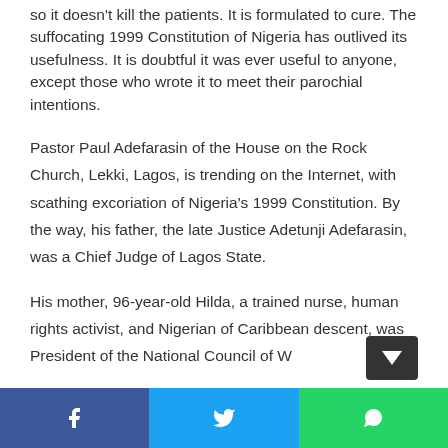so it doesn't kill the patients. It is formulated to cure. The suffocating 1999 Constitution of Nigeria has outlived its usefulness. It is doubtful it was ever useful to anyone, except those who wrote it to meet their parochial intentions.
Pastor Paul Adefarasin of the House on the Rock Church, Lekki, Lagos, is trending on the Internet, with scathing excoriation of Nigeria's 1999 Constitution. By the way, his father, the late Justice Adetunji Adefarasin, was a Chief Judge of Lagos State.
His mother, 96-year-old Hilda, a trained nurse, human rights activist, and Nigerian of Caribbean descent, was President of the National Council of W...
Share buttons: Facebook, Twitter, WhatsApp